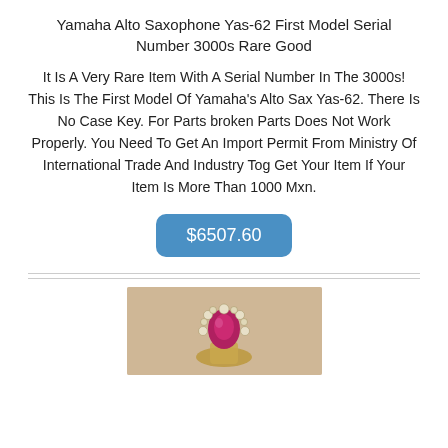Yamaha Alto Saxophone Yas-62 First Model Serial Number 3000s Rare Good
It Is A Very Rare Item With A Serial Number In The 3000s! This Is The First Model Of Yamaha's Alto Sax Yas-62. There Is No Case Key. For Parts broken Parts Does Not Work Properly. You Need To Get An Import Permit From Ministry Of International Trade And Industry Tog Get Your Item If Your Item Is More Than 1000 Mxn.
$6507.60
[Figure (photo): Partial photo of a jewelry ring with a red/ruby center stone surrounded by small diamond-like stones, on a beige/tan background. Only the top portion of the image is visible.]